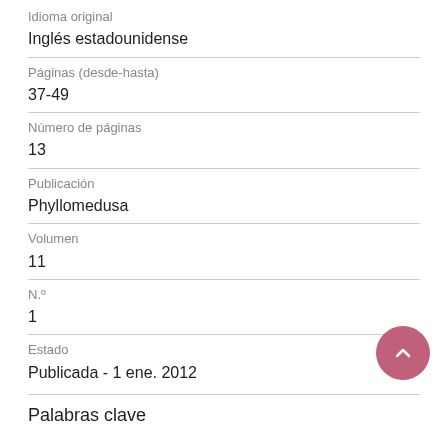Idioma original
Inglés estadounidense
Páginas (desde-hasta)
37-49
Número de páginas
13
Publicación
Phyllomedusa
Volumen
11
N.º
1
Estado
Publicada - 1 ene. 2012
Palabras clave